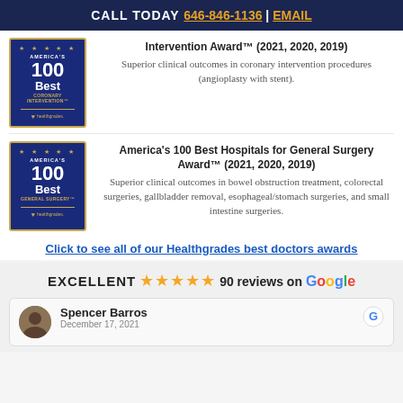CALL TODAY 646-846-1136 | EMAIL
Intervention Award™ (2021, 2020, 2019) Superior clinical outcomes in coronary intervention procedures (angioplasty with stent).
[Figure (logo): America's 100 Best Coronary Intervention Healthgrades badge]
America's 100 Best Hospitals for General Surgery Award™ (2021, 2020, 2019) Superior clinical outcomes in bowel obstruction treatment, colorectal surgeries, gallbladder removal, esophageal/stomach surgeries, and small intestine surgeries.
[Figure (logo): America's 100 Best General Surgery Healthgrades badge]
Click to see all of our Healthgrades best doctors awards
EXCELLENT 90 reviews on Google
Spencer Barros December 17, 2021